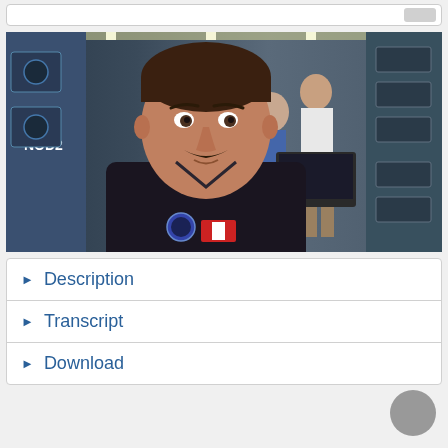[Figure (screenshot): Top bar UI element with button on right side]
[Figure (photo): Astronaut in dark polo shirt aboard the International Space Station (ISS), with NOD2 module visible on the left. Other crew members visible in the background near equipment and a laptop.]
Description
Transcript
Download